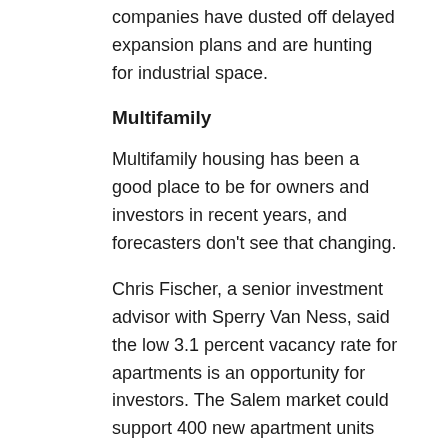companies have dusted off delayed expansion plans and are hunting for industrial space.
Multifamily
Multifamily housing has been a good place to be for owners and investors in recent years, and forecasters don't see that changing.
Chris Fischer, a senior investment advisor with Sperry Van Ness, said the low 3.1 percent vacancy rate for apartments is an opportunity for investors. The Salem market could support 400 new apartment units without difficulty, he said. Meanwhile, buyers of investment properties have been unwilling to take moderate risks. Sales of multifamily properties in the Salem area declined significantly in 2012 compared to 2011.